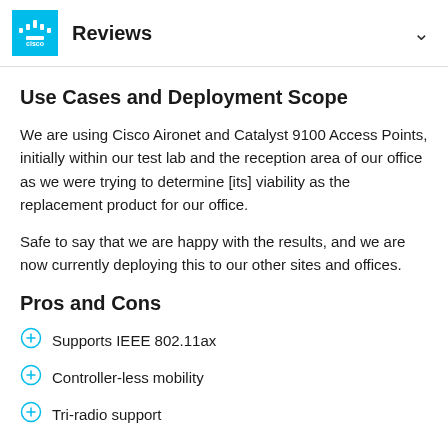Reviews
Use Cases and Deployment Scope
We are using Cisco Aironet and Catalyst 9100 Access Points, initially within our test lab and the reception area of our office as we were trying to determine [its] viability as the replacement product for our office.
Safe to say that we are happy with the results, and we are now currently deploying this to our other sites and offices.
Pros and Cons
Supports IEEE 802.11ax
Controller-less mobility
Tri-radio support